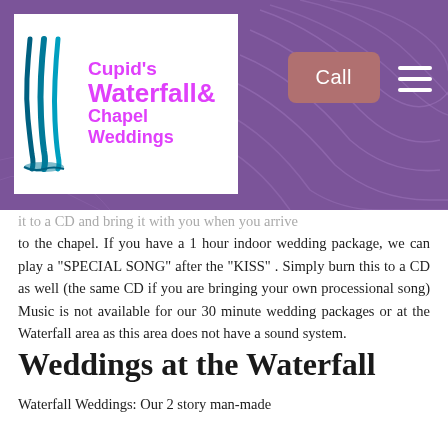[Figure (logo): Cupid's Waterfall & Chapel Weddings logo with teal waterfall graphic and magenta text on white background, set against purple background with topographic line pattern. Includes 'Call' button and hamburger menu.]
it to a CD and bring it with you when you arrive to the chapel. If you have a 1 hour indoor wedding package, we can play a "SPECIAL SONG" after the "KISS" . Simply burn this to a CD as well (the same CD if you are bringing your own processional song) Music is not available for our 30 minute wedding packages or at the Waterfall area as this area does not have a sound system.
Weddings at the Waterfall
Waterfall Weddings: Our 2 story man-made